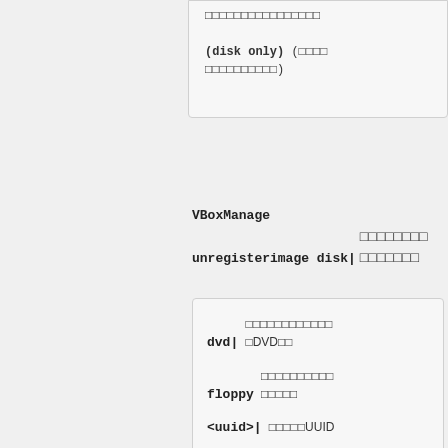(disk only) (□□□□□□□□□□)
VBoxManage unregisterimage disk| □□□□□□□□□□□□□□□
dvd| □□□□□□□□□□□□□DVD□□
floppy □□□□□□□□□□□□□□□
<uuid>| □□□□□UUID
<filename> □□□□□□□□□